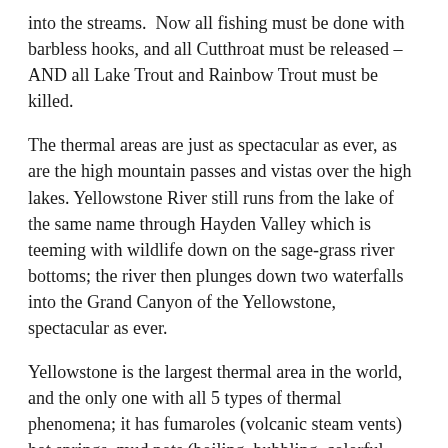into the streams.  Now all fishing must be done with barbless hooks, and all Cutthroat must be released – AND all Lake Trout and Rainbow Trout must be killed.
The thermal areas are just as spectacular as ever, as are the high mountain passes and vistas over the high lakes.  Yellowstone River still runs from the lake of the same name through Hayden Valley which is teeming with wildlife down on the sage-grass river bottoms; the river then plunges down two waterfalls into the Grand Canyon of the Yellowstone, spectacular as ever.
Yellowstone is the largest thermal area in the world, and the only one with all 5 types of thermal phenomena; it has fumaroles (volcanic steam vents) hot springs, mud pots (boiling, bubbling, colorful mud), travertine terraces (so beloved by the ancient Romans for hot steam bathing) and, finally, the largest collection of geysers in the world.  Most of the Park sits over one of the largest volcanic calderas in the